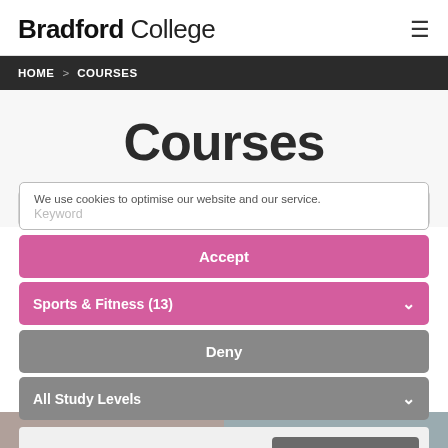Bradford College
HOME > COURSES
Courses
We use cookies to optimise our website and our service.
Keyword
Accept
Sports & Fitness (13)
Deny
All Study Levels
Preferences
FILTER COURSES
Cookie Policy   Data Protection and Privacy Policy